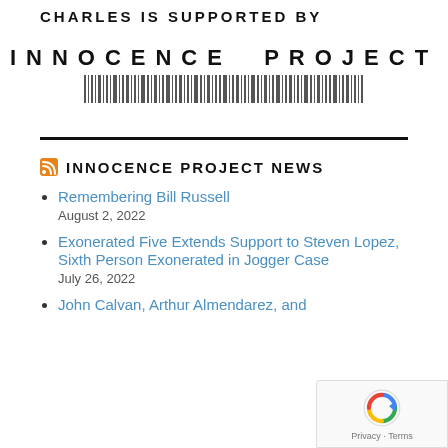CHARLES IS SUPPORTED BY
[Figure (logo): Innocence Project logo with barcode-style lines beneath the text]
INNOCENCE PROJECT NEWS
Remembering Bill Russell
August 2, 2022
Exonerated Five Extends Support to Steven Lopez, Sixth Person Exonerated in Jogger Case
July 26, 2022
John Calvan, Arthur Almendarez, and